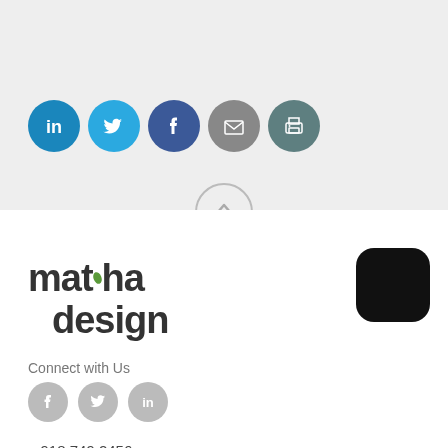[Figure (illustration): Social sharing icons row: LinkedIn (blue), Twitter (light blue), Facebook (dark blue), Email (gray), Print (teal) — circular icon buttons]
[Figure (illustration): Chevron/arrow up circle button for scroll-to-top]
[Figure (logo): Matcha Design logo: bold stylized text 'matcha design' with a green leaf accent above the 't']
Connect with Us
[Figure (illustration): Small social icons: Facebook, Twitter, LinkedIn — gray circles]
p 918.749.2456
info@matchadesign.com
About
Expertise
[Figure (illustration): Black rounded square badge/icon in bottom right corner]